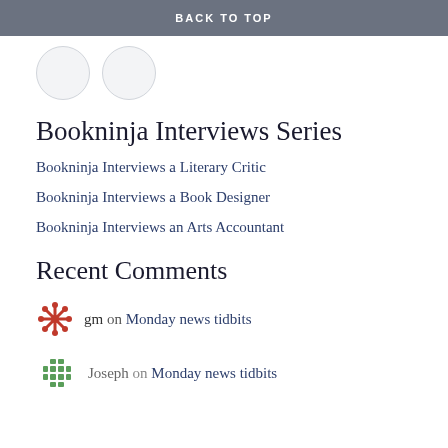BACK TO TOP
[Figure (illustration): Two circular avatar placeholder icons, light gray with border, partially visible at top]
Bookninja Interviews Series
Bookninja Interviews a Literary Critic
Bookninja Interviews a Book Designer
Bookninja Interviews an Arts Accountant
Recent Comments
gm on Monday news tidbits
Joseph on Monday news tidbits